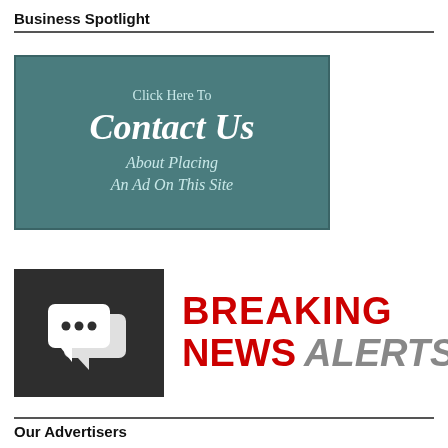Business Spotlight
[Figure (other): Teal/dark cyan banner with text: 'Click Here To Contact Us About Placing An Ad On This Site']
[Figure (other): Breaking News Alerts logo: dark box with chat bubble icons on left, red 'BREAKING NEWS' and gray italic 'ALERTS' text on right]
Our Advertisers